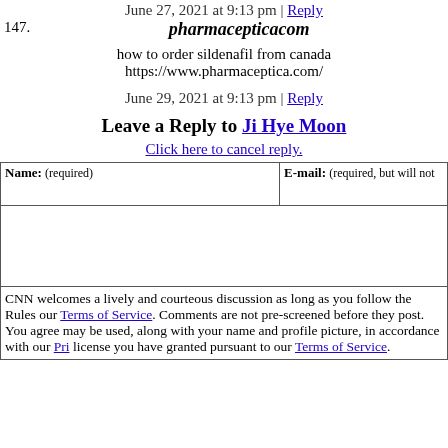June 27, 2021 at 9:13 pm | Reply
147. pharmacepticacom
how to order sildenafil from canada
https://www.pharmaceptica.com/
June 29, 2021 at 9:13 pm | Reply
Leave a Reply to Ji Hye Moon
Click here to cancel reply.
Name: (required)   E-mail: (required, but will not
CNN welcomes a lively and courteous discussion as long as you follow the Rules our Terms of Service. Comments are not pre-screened before they post. You agree may be used, along with your name and profile picture, in accordance with our Pri license you have granted pursuant to our Terms of Service.